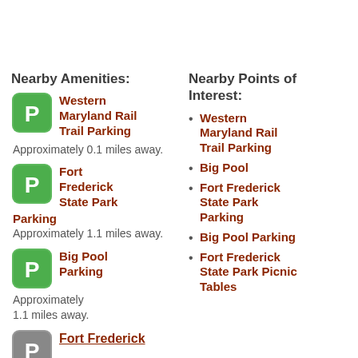Nearby Amenities:
Nearby Points of Interest:
Western Maryland Rail Trail Parking — Approximately 0.1 miles away.
Fort Frederick State Park Parking — Approximately 1.1 miles away.
Big Pool Parking — Approximately 1.1 miles away.
Fort Frederick (partial)
Western Maryland Rail Trail Parking
Big Pool
Fort Frederick State Park Parking
Big Pool Parking
Fort Frederick State Park Picnic Tables